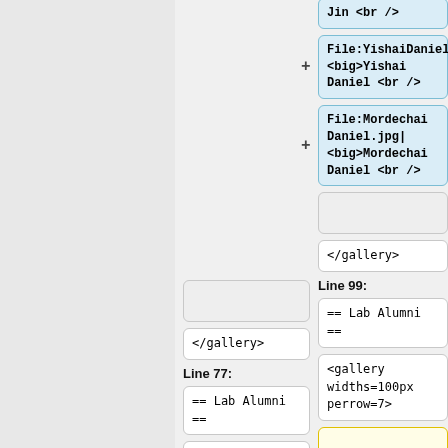Jin <br />
File:YishaiDaniel.jpg| <big>Yishai Daniel <br />
File:Mordechai Daniel.jpg| <big>Mordechai Daniel <br />
</gallery>
</gallery>
Line 77:
Line 99:
== Lab Alumni ==
== Lab Alumni ==
<gallery widths=100px perrow=7>
<gallery widths=100px perrow=7>